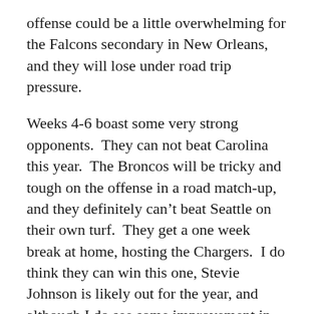offense could be a little overwhelming for the Falcons secondary in New Orleans, and they will lose under road trip pressure.
Weeks 4-6 boast some very strong opponents.  They can not beat Carolina this year.  The Broncos will be tricky and tough on the offense in a road match-up, and they definitely can't beat Seattle on their own turf.  They get a one week break at home, hosting the Chargers.  I do think they can win this one, Stevie Johnson is likely out for the year, and although I do see some improvement in San Diego, nothing major will happen.  This is an easy W for the Falcons at home.  But it's back to the tough schedule in Week 8 against the Packers, who will blow them out.  Then they go to Tampa